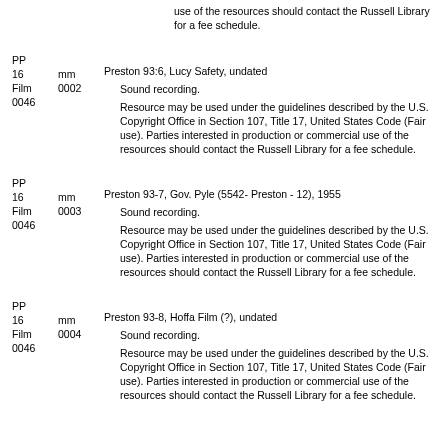use of the resources should contact the Russell Library for a fee schedule.
Film 0046 / PP 16mm 0002 / Preston 93:6, Lucy Safety, undated
Sound recording.
Resource may be used under the guidelines described by the U.S. Copyright Office in Section 107, Title 17, United States Code (Fair use). Parties interested in production or commercial use of the resources should contact the Russell Library for a fee schedule.
Film 0046 / PP 16mm 0003 / Preston 93-7, Gov. Pyle (5542- Preston - 12), 1955
Sound recording.
Resource may be used under the guidelines described by the U.S. Copyright Office in Section 107, Title 17, United States Code (Fair use). Parties interested in production or commercial use of the resources should contact the Russell Library for a fee schedule.
Film 0046 / PP 16mm 0004 / Preston 93-8, Hoffa Film (?), undated
Sound recording.
Resource may be used under the guidelines described by the U.S. Copyright Office in Section 107, Title 17, United States Code (Fair use). Parties interested in production or commercial use of the resources should contact the Russell Library for a fee schedule.